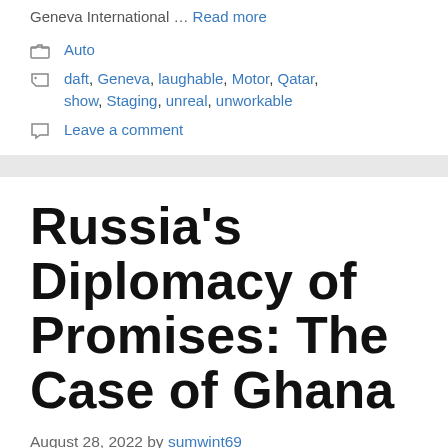Geneva International … Read more
Auto
daft, Geneva, laughable, Motor, Qatar, show, Staging, unreal, unworkable
Leave a comment
Russia's Diplomacy of Promises: The Case of Ghana
August 28, 2022 by sumwint69